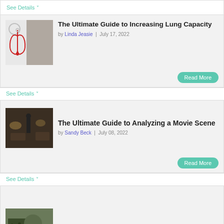See Details ˅
The Ultimate Guide to Increasing Lung Capacity
by Linda Jeasie | July 17, 2022
Read More
See Details ˅
The Ultimate Guide to Analyzing a Movie Scene
by Sandy Beck | July 08, 2022
Read More
See Details ˅
How to decorate Princes themes party